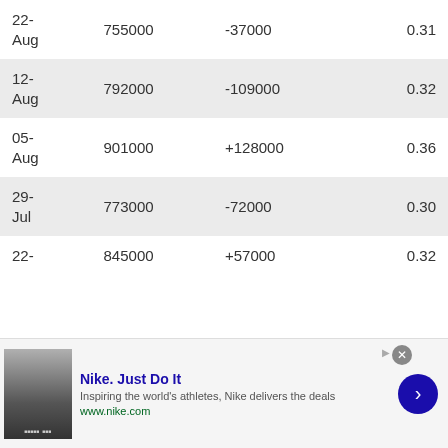| Date | Value | Change | Ratio |
| --- | --- | --- | --- |
| 22-Aug | 755000 | -37000 | 0.31 |
| 12-Aug | 792000 | -109000 | 0.32 |
| 05-Aug | 901000 | +128000 | 0.36 |
| 29-Jul | 773000 | -72000 | 0.30 |
| 22- | 845000 | +57000 | 0.32 |